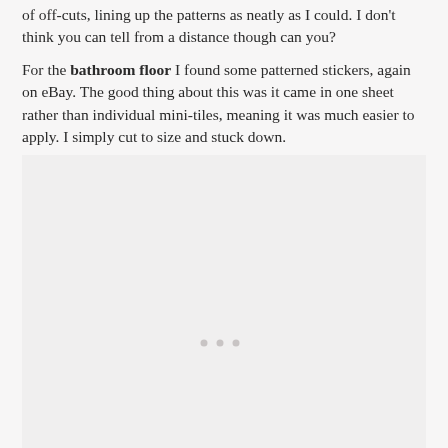of off-cuts, lining up the patterns as neatly as I could. I don't think you can tell from a distance though can you?
For the bathroom floor I found some patterned stickers, again on eBay. The good thing about this was it came in one sheet rather than individual mini-tiles, meaning it was much easier to apply. I simply cut to size and stuck down.
[Figure (photo): A large image area (mostly blank/placeholder) showing a bathroom floor with patterned stickers, light gray background with three small dots visible near center.]